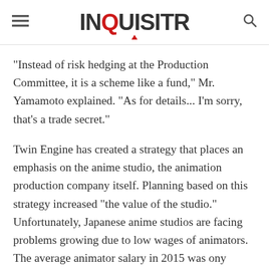INQUISITR
"Instead of risk hedging at the Production Committee, it is a scheme like a fund," Mr. Yamamoto explained. "As for details... I'm sorry, that's a trade secret."
Twin Engine has created a strategy that places an emphasis on the anime studio, the animation production company itself. Planning based on this strategy increased "the value of the studio." Unfortunately, Japanese anime studios are facing problems growing due to low wages of animators. The average animator salary in 2015 was ony $10,000 a year, which has resulted in a shortage of human resources. Many anime studios have scheduled projects multiple years in advance because they are booked to